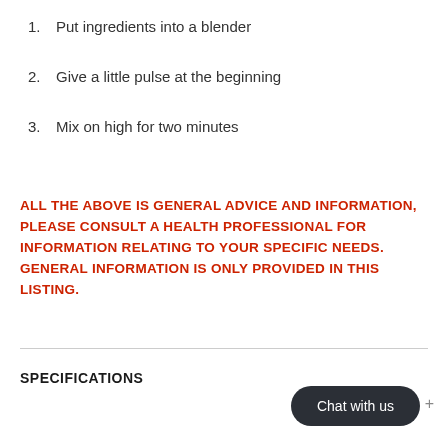1. Put ingredients into a blender
2. Give a little pulse at the beginning
3. Mix on high for two minutes
ALL THE ABOVE IS GENERAL ADVICE AND INFORMATION, PLEASE CONSULT A HEALTH PROFESSIONAL FOR INFORMATION RELATING TO YOUR SPECIFIC NEEDS. GENERAL INFORMATION IS ONLY PROVIDED IN THIS LISTING.
SPECIFICATIONS